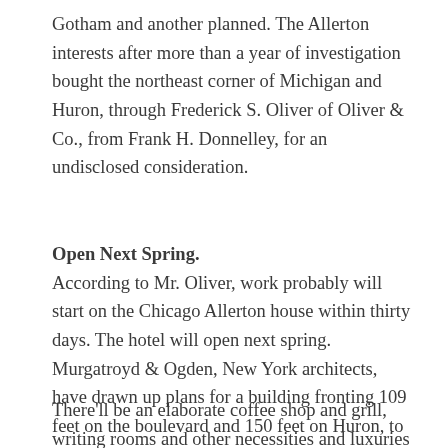Gotham and another planned. The Allerton interests after more than a year of investigation bought the northeast corner of Michigan and Huron, through Frederick S. Oliver of Oliver & Co., from Frank H. Donnelley, for an undisclosed consideration.
Open Next Spring.
According to Mr. Oliver, work probably will start on the Chicago Allerton house within thirty days. The hotel will open next spring. Murgatroyd & Ogden, New York architects, have drawn up plans for a building fronting 109 feet on the boulevard and 150 feet on Huron, to be equal in architectural beauty to the Manhattan Allertons.
There'll be an elaborate coffee shop and grill, writing rooms and other necessities and luxuries of the